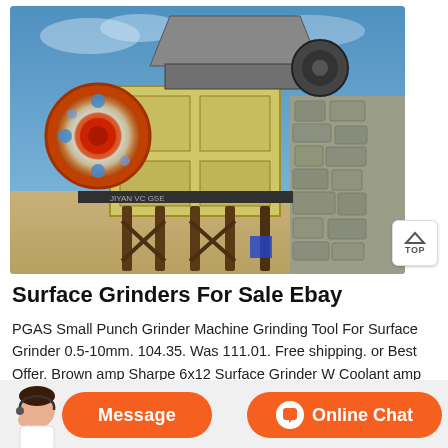[Figure (photo): Industrial jaw crusher machine with red flywheel on left, yellow metal body frame elevated on wooden legs, stone wall on right side, blue sky background. Photo from an outdoor mining/quarrying site.]
Surface Grinders For Sale Ebay
PGAS Small Punch Grinder Machine Grinding Tool For Surface Grinder 0.5-10mm. 104.35. Was 111.01. Free shipping. or Best Offer. Brown amp Sharpe 6x12 Surface Grinder W Coolant amp